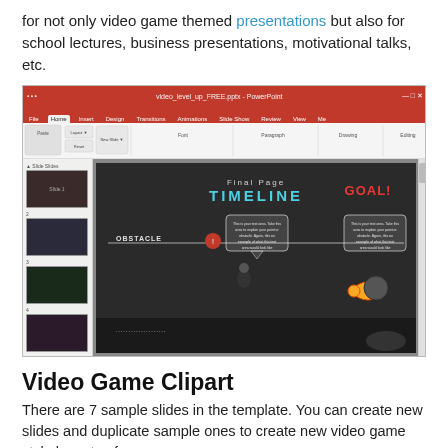for not only video game themed presentations but also for school lectures, business presentations, motivational talks, etc.
[Figure (screenshot): A Microsoft PowerPoint window showing a video game themed presentation slide titled 'Final Page TIMELINE' with a dark background, showing an OBSTACLE and GOAL! label, two speech bubbles, a running figure character, and a figure near a gold key and lock. The left panel shows 7 slide thumbnails with slide 6 active.]
Video Game Clipart
There are 7 sample slides in the template. You can create new slides and duplicate sample ones to create new video game style layouts of